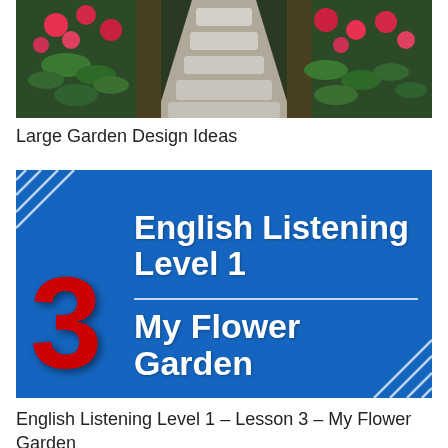[Figure (photo): Garden path with stepping stones flanked by raised flower beds with pink and red flowers, green foliage, surrounded by dark trees]
Large Garden Design Ideas
[Figure (illustration): Blue thumbnail card for English Listening Level 1 Lesson 3 My Flower Garden, featuring bold white text, a large red numeral 3, white corner slash decorations on blue background]
English Listening Level 1 – Lesson 3 – My Flower Garden